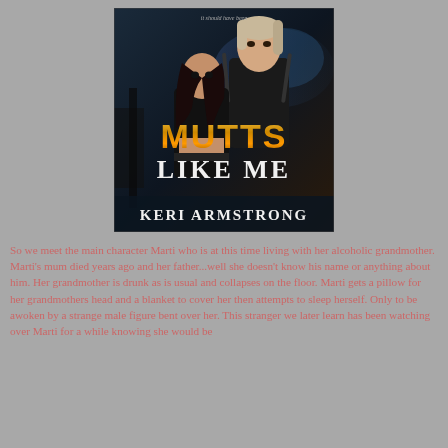[Figure (illustration): Book cover for 'Mutts Like Me' by Keri Armstrong. Shows a dark-haired woman and a young man with guns against a dark stormy background. Title 'MUTTS LIKE ME' in large gold/metallic letters. Author name 'KERI ARMSTRONG' at the bottom in white serif font. Small tagline at top reads 'it should have been'.]
So we meet the main character Marti who is at this time living with her alcoholic grandmother. Marti's mum died years ago and her father...well she doesn't know his name or anything about him. Her grandmother is drunk as is usual and collapses on the floor. Marti gets a pillow for her grandmothers head and a blanket to cover her then attempts to sleep herself. Only to be awoken by a strange male figure bent over her. This stranger we later learn has been watching over Marti for a while knowing she would be